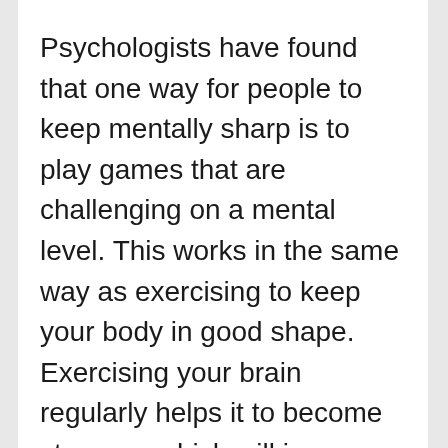Psychologists have found that one way for people to keep mentally sharp is to play games that are challenging on a mental level. This works in the same way as exercising to keep your body in good shape. Exercising your brain regularly helps it to become stronger, which will improve your focus, concentration and memory. Crossword puzzles, brain teasers, and word searches are great games that can boost your memory.
If you want to boost your memory, look for...